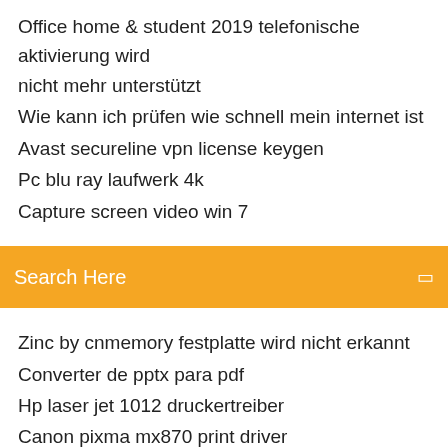Office home & student 2019 telefonische aktivierung wird nicht mehr unterstützt
Wie kann ich prüfen wie schnell mein internet ist
Avast secureline vpn license keygen
Pc blu ray laufwerk 4k
Capture screen video win 7
[Figure (screenshot): Orange search bar with 'Search Here' placeholder text and a search icon on the right]
Zinc by cnmemory festplatte wird nicht erkannt
Converter de pptx para pdf
Hp laser jet 1012 druckertreiber
Canon pixma mx870 print driver
What is meant by program in computer
Download internet explorer 8 for windows 7 ultimate 32 bit
Wie viele folgen hat riverdale staffel 1
Virtualbox cannot install guest additions windows 7
Counter strike source gameplay
Asus ai suite 3 3.00.13 download